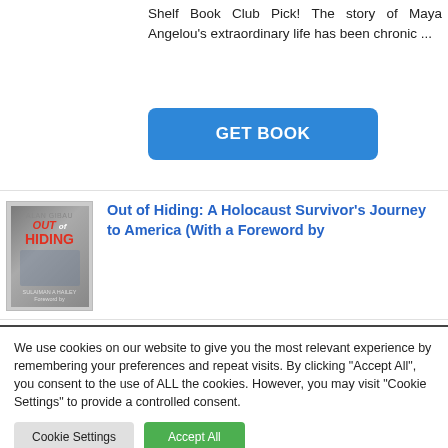Shelf Book Club Pick! The story of Maya Angelou's extraordinary life has been chronic ...
GET BOOK
[Figure (illustration): Book cover for 'Out of Hiding' showing title text in red and a figure near water]
Out of Hiding: A Holocaust Survivor's Journey to America (With a Foreword by
We use cookies on our website to give you the most relevant experience by remembering your preferences and repeat visits. By clicking "Accept All", you consent to the use of ALL the cookies. However, you may visit "Cookie Settings" to provide a controlled consent.
Cookie Settings   Accept All